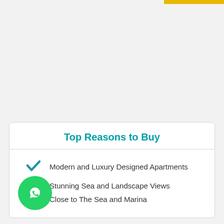Top Reasons to Buy
Modern and Luxury Designed Apartments
Stunning Sea and Landscape Views
Close to The Sea and Marina